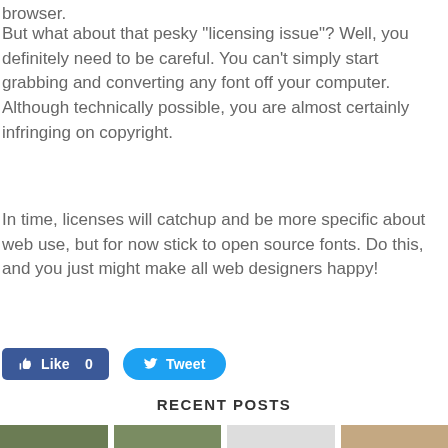browser.
But what about that pesky "licensing issue"? Well, you definitely need to be careful. You can't simply start grabbing and converting any font off your computer. Although technically possible, you are almost certainly infringing on copyright.
In time, licenses will catchup and be more specific about web use, but for now stick to open source fonts. Do this, and you just might make all web designers happy!
[Figure (other): Facebook Like button showing count 0 and Twitter Tweet button]
RECENT POSTS
[Figure (photo): Four thumbnail images in a row at the bottom of the page]